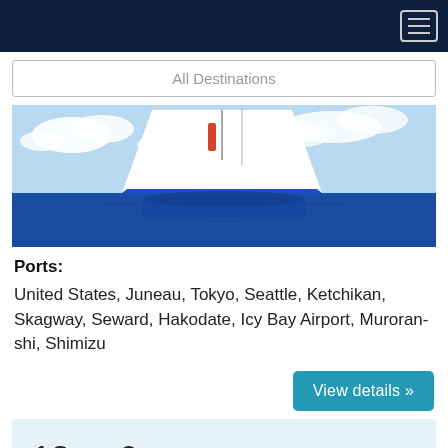All Destinations
[Figure (photo): A large white cruise ship bow and hull rising above calm deep blue ocean water, with white sails visible and a partly cloudy blue sky in the background.]
Ports:
United States, Juneau, Tokyo, Seattle, Ketchikan, Skagway, Seward, Hakodate, Icy Bay Airport, Muroran-shi, Shimizu
View details »
13  9